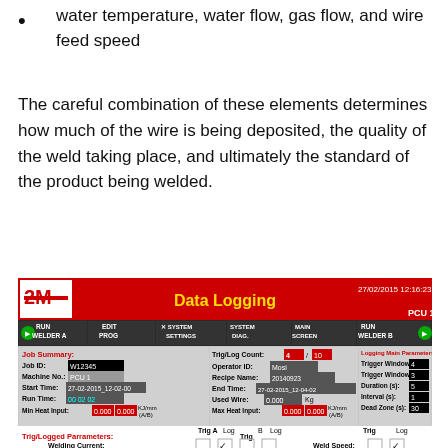water temperature, water flow, gas flow, and wire feed speed
The careful combination of these elements determines how much of the wire is being deposited, the quality of the weld taking place, and ultimately the standard of the product being welded.
[Figure (screenshot): Data Logging screen from 2M welding system showing job summary, trig/logged parameters including welding current, welding voltage, hotwire current, weld speed, alarms, carriage position, and logging main parameters.]